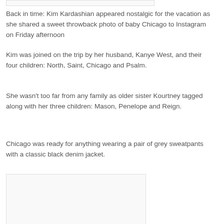[Figure (photo): Top portion of a photo, partially visible at the top of the page]
Back in time: Kim Kardashian appeared nostalgic for the vacation as she shared a sweet throwback photo of baby Chicago to Instagram on Friday afternoon
Kim was joined on the trip by her husband, Kanye West, and their four children: North, Saint, Chicago and Psalm.
She wasn’t too far from any family as older sister Kourtney tagged along with her three children: Mason, Penelope and Reign.
Chicago was ready for anything wearing a pair of grey sweatpants with a classic black denim jacket.
[Figure (photo): Bottom photo, partially visible, showing a scene related to the article]